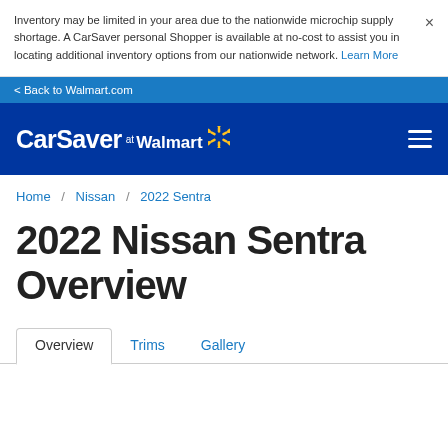Inventory may be limited in your area due to the nationwide microchip supply shortage. A CarSaver personal Shopper is available at no-cost to assist you in locating additional inventory options from our nationwide network. Learn More
< Back to Walmart.com
[Figure (logo): CarSaver at Walmart logo with Walmart spark icon and hamburger menu on dark blue background]
Home / Nissan / 2022 Sentra
2022 Nissan Sentra Overview
Overview   Trims   Gallery